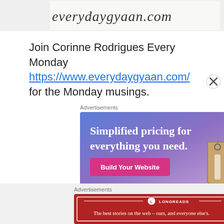[Figure (screenshot): Top banner showing handwritten text 'everydaygyaan.com' on a light background]
Join Corinne Rodrigues Every Monday https://www.everydaygyaan.com/ for the Monday musings.
Advertisements
[Figure (screenshot): Advertisement banner: 'Simplified pricing for everything you need.' with a pink 'Build Your Website' button and a price tag graphic. Blue/purple gradient background.]
Advertisements
[Figure (screenshot): Longreads advertisement: red background with white border, Longreads logo, text 'The best stories on the web – ours, and everyone else's.']